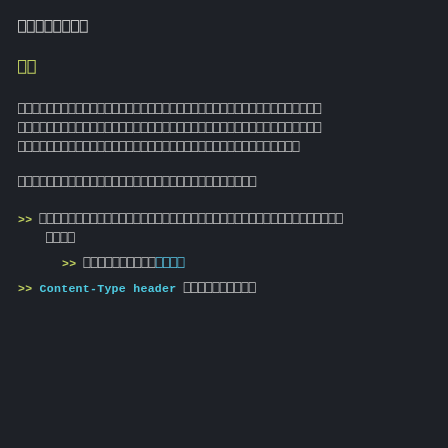xxxxxxxx
xx
xxxxxxxxxxxxxxxxxxxxxxxxxxxxxxxxxxxxxxxxxx xxxxxxxxxxxxxxxxxxxxxxxxxxxxxxxxxxxxxxxxxx xxxxxxxxxxxxxxxxxxxxxxxxxxxxxxxxxxxxxxxxx
xxxxxxxxxxxxxxxxxxxxxxxxxxxxxxxxx
>> xxxxxxxxxxxxxxxxxxxxxxxxxxxxxxxxxxxxxxxx xxxx
>> xxxxxxxxxxxxxxxxxx[xxxx]
>> Content-Type header xxxxxxxxxx